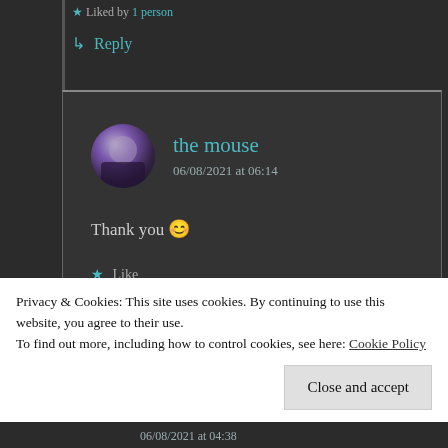★ Liked by 1 person
↳ Reply
the mouse
06/08/2021 at 06:14
Thank you 😊
★ Like
Privacy & Cookies: This site uses cookies. By continuing to use this website, you agree to their use.
To find out more, including how to control cookies, see here: Cookie Policy
Close and accept
06/08/2021 at 04:38